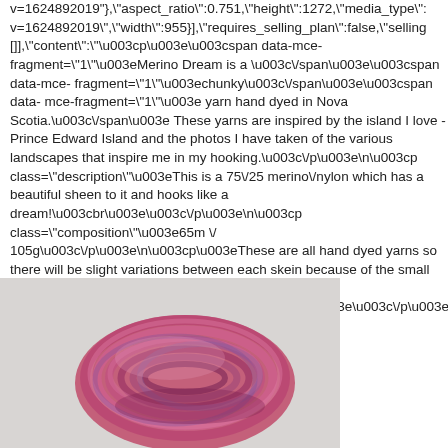v=1624892019"},"aspect_ratio":0.751,"height":1272,"media_type": v=1624892019","width":955}],"requires_selling_plan":false,"selling []],"content":"<p><span data-mce-fragment=\"1\">Merino Dream is a </span><span data-mce-fragment=\"1\">chunky</span><span data-mce-fragment=\"1\"> yarn hand dyed in Nova Scotia.</span> These yarns are inspired by the island I love - Prince Edward Island and the photos I have taken of the various landscapes that inspire me in my hooking.</p>
<p class=\"description\">This is a 75/25 merino/nylon which has a beautiful sheen to it and hooks like a dream!<br></p>
<p class=\"composition\">65m / 105g</p>
<p>These are all hand dyed yarns so there will be slight variations between each skein because of the small batch dyeing process.</p>
<p><br></p></p><
[Figure (photo): A skein of chunky hand-dyed merino yarn in shades of pink, magenta, and purple, photographed on a light gray background.]